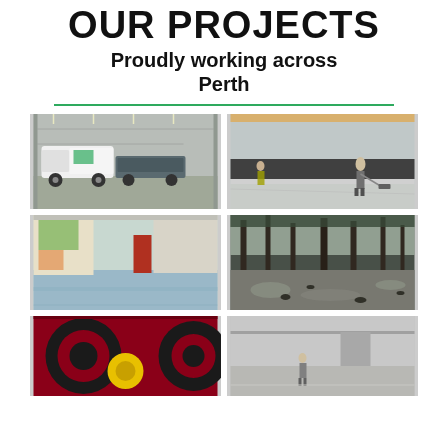OUR PROJECTS
Proudly working across Perth
[Figure (photo): Work truck and equipment trailer parked inside a large industrial warehouse with grey floor]
[Figure (photo): Worker applying floor coating in a large industrial building with grey and dark stripe walls]
[Figure (photo): Bright blue/grey epoxy floor in a commercial or school corridor with colourful artwork on walls]
[Figure (photo): Wet reflective epoxy floor coating in an outdoor or semi-outdoor space with trees visible overhead]
[Figure (photo): Close-up of red and black epoxy floor with circular decorative targets/vinyl inserts]
[Figure (photo): Worker applying floor coating in a large well-lit industrial or warehouse interior]